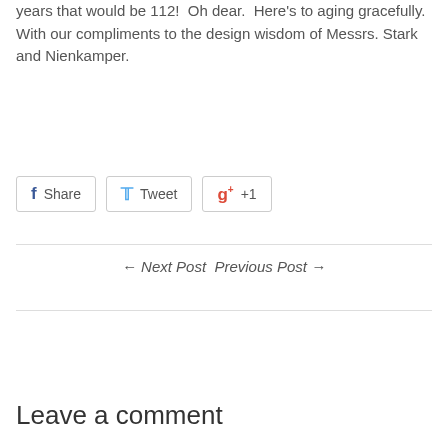years that would be 112!  Oh dear.  Here's to aging gracefully.  With our compliments to the design wisdom of Messrs. Stark and Nienkamper.
[Figure (other): Social sharing buttons: Facebook Share, Twitter Tweet, Google +1]
← Next Post Previous Post →
Leave a comment